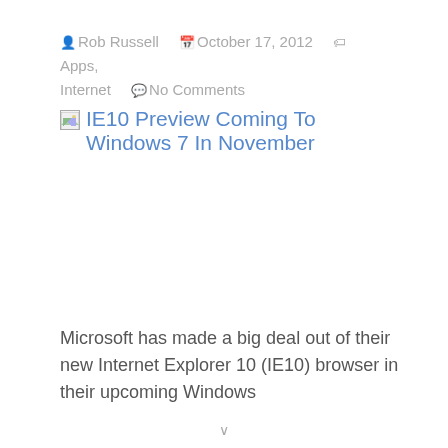Rob Russell   October 17, 2012   Apps, Internet   No Comments
IE10 Preview Coming To Windows 7 In November
Microsoft has made a big deal out of their new Internet Explorer 10 (IE10) browser in their upcoming Windows